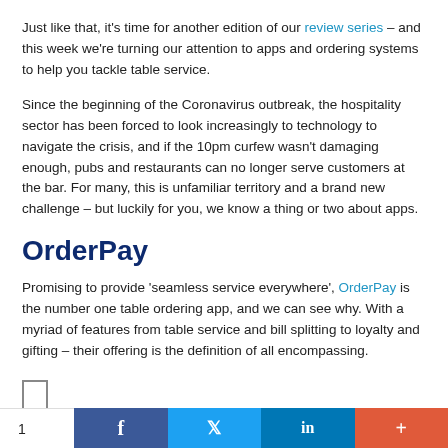Just like that, it's time for another edition of our review series – and this week we're turning our attention to apps and ordering systems to help you tackle table service.
Since the beginning of the Coronavirus outbreak, the hospitality sector has been forced to look increasingly to technology to navigate the crisis, and if the 10pm curfew wasn't damaging enough, pubs and restaurants can no longer serve customers at the bar. For many, this is unfamiliar territory and a brand new challenge – but luckily for you, we know a thing or two about apps.
OrderPay
Promising to provide 'seamless service everywhere', OrderPay is the number one table ordering app, and we can see why. With a myriad of features from table service and bill splitting to loyalty and gifting – their offering is the definition of all encompassing.
[Figure (other): Small placeholder image box]
Fully customizable to meet brand requirements,
1